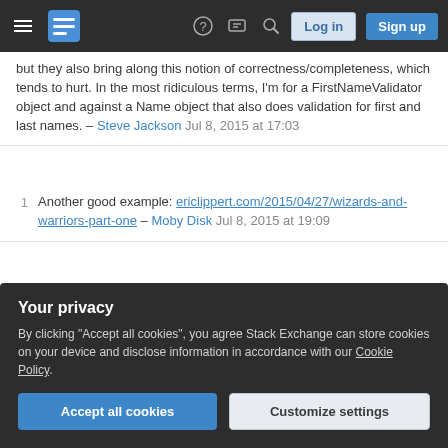Stack Exchange navigation bar with hamburger menu, logo, help, chat, search icons, Log in and Sign up buttons
but they also bring along this notion of correctness/completeness, which tends to hurt. In the most ridiculous terms, I'm for a FirstNameValidator object and against a Name object that also does validation for first and last names. – Steve Jackson Jul 8, 2015 at 17:03
1  Another good example: ericlippert.com/2015/04/27/wizards-and-warriors-part-one – Moby Disk Jul 8, 2015 at 19:09
2  Objects are about messages - Steve Jackson's answer - this is absolutely right on. MOP is not what is meant by "messaging" as conceived by The Father of OO
Your privacy
By clicking "Accept all cookies", you agree Stack Exchange can store cookies on your device and disclose information in accordance with our Cookie Policy.
Accept all cookies   Customize settings